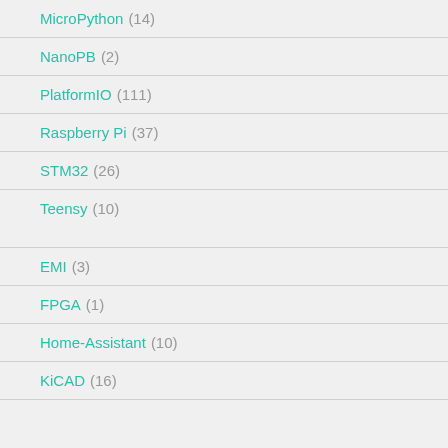MicroPython (14)
NanoPB (2)
PlatformIO (111)
Raspberry Pi (37)
STM32 (26)
Teensy (10)
EMI (3)
FPGA (1)
Home-Assistant (10)
KiCAD (16)